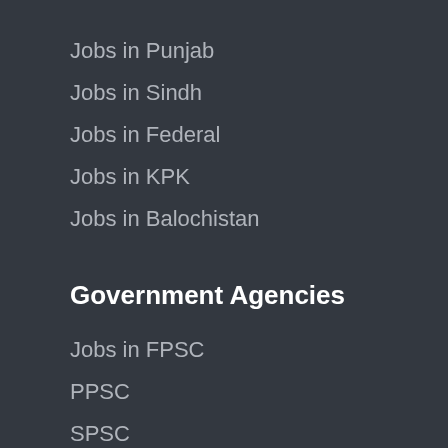Jobs in Punjab
Jobs in Sindh
Jobs in Federal
Jobs in KPK
Jobs in Balochistan
Government Agencies
Jobs in FPSC
PPSC
SPSC
KPPSC
BPSC